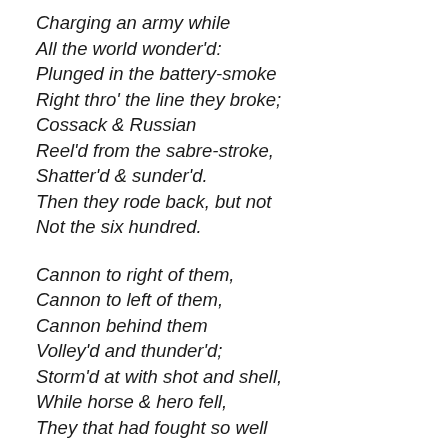Charging an army while
All the world wonder'd:
Plunged in the battery-smoke
Right thro' the line they broke;
Cossack & Russian
Reel'd from the sabre-stroke,
Shatter'd & sunder'd.
Then they rode back, but not
Not the six hundred.

Cannon to right of them,
Cannon to left of them,
Cannon behind them
Volley'd and thunder'd;
Storm'd at with shot and shell,
While horse & hero fell,
They that had fought so well